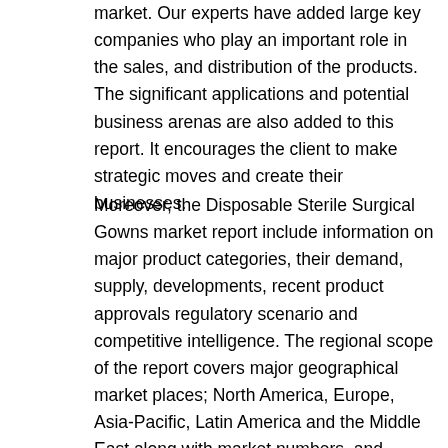market. Our experts have added large key companies who play an important role in the sales, and distribution of the products. The significant applications and potential business arenas are also added to this report. It encourages the client to make strategic moves and create their businesses.
Moreover, the Disposable Sterile Surgical Gowns market report include information on major product categories, their demand, supply, developments, recent product approvals regulatory scenario and competitive intelligence. The regional scope of the report covers major geographical market places; North America, Europe, Asia-Pacific, Latin America and the Middle East along with market numbers, and growth potential in form of forecast market values in US$ million. Furthermore, the report also sheds light on the competitive landscape in the industry, talking about the